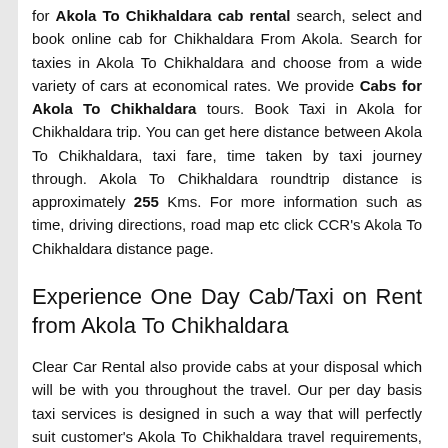for Akola To Chikhaldara cab rental search, select and book online cab for Chikhaldara From Akola. Search for taxies in Akola To Chikhaldara and choose from a wide variety of cars at economical rates. We provide Cabs for Akola To Chikhaldara tours. Book Taxi in Akola for Chikhaldara trip. You can get here distance between Akola To Chikhaldara, taxi fare, time taken by taxi journey through. Akola To Chikhaldara roundtrip distance is approximately 255 Kms. For more information such as time, driving directions, road map etc click CCR's Akola To Chikhaldara distance page.
Experience One Day Cab/Taxi on Rent from Akola To Chikhaldara
Clear Car Rental also provide cabs at your disposal which will be with you throughout the travel. Our per day basis taxi services is designed in such a way that will perfectly suit customer's Akola To Chikhaldara travel requirements, whether it is for weekends or Chikhaldara sightseeings. Our dedicated support